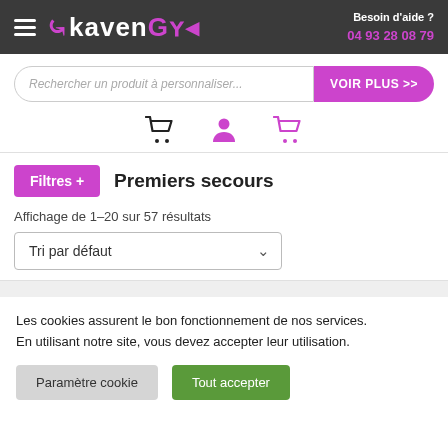[Figure (screenshot): OkavenGo website header with hamburger menu, logo, and contact info 'Besoin d'aide ? 04 93 28 08 79']
[Figure (screenshot): Search bar with placeholder 'Rechercher un produit à personnaliser...' and pink 'VOIR PLUS >>' button]
[Figure (screenshot): Row of three icons: black shopping cart, purple person, purple shopping cart]
Filtres + Premiers secours
Affichage de 1–20 sur 57 résultats
Tri par défaut
Les cookies assurent le bon fonctionnement de nos services. En utilisant notre site, vous devez accepter leur utilisation.
Paramètre cookie
Tout accepter